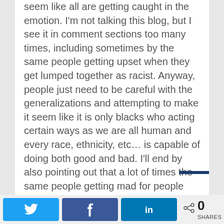seem like all are getting caught in the emotion. I'm not talking this blog, but I see it in comment sections too many times, including sometimes by the same people getting upset when they get lumped together as racist. Anyway, people just need to be careful with the generalizations and attempting to make it seem like it is only blacks who acting certain ways as we are all human and every race, ethnicity, etc… is capable of doing both good and bad. I'll end by also pointing out that a lot of times the same people getting mad for people showing emotions are also the same who get caught in the emotions when they communicate certain comments that can be incorrect, including bigoted ones (Again, not saying the